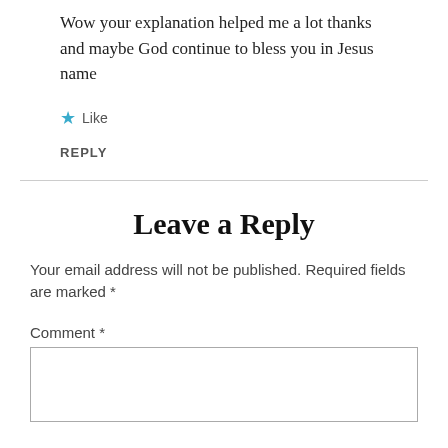Wow your explanation helped me a lot thanks and maybe God continue to bless you in Jesus name
★ Like
REPLY
Leave a Reply
Your email address will not be published. Required fields are marked *
Comment *